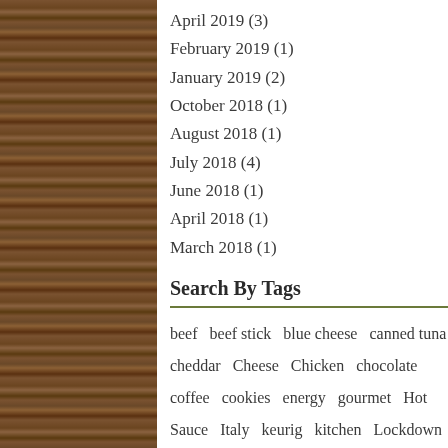April 2019 (3)
February 2019 (1)
January 2019 (2)
October 2018 (1)
August 2018 (1)
July 2018 (4)
June 2018 (1)
April 2018 (1)
March 2018 (1)
Search By Tags
beef  beef stick  blue cheese  canned tuna  cheddar  Cheese  Chicken  chocolate  coffee  cookies  energy  gourmet  Hot Sauce  Italy  keurig  kitchen  Lockdown  meal  mixers  mustard  New Items  pasta